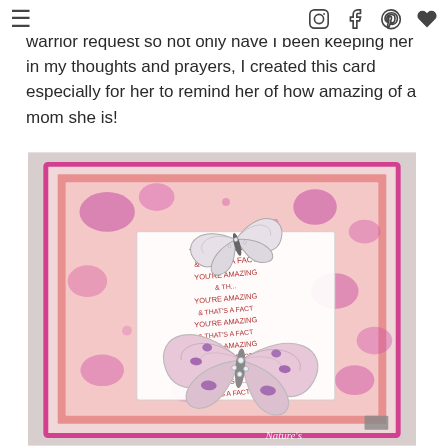≡  [Instagram] [Facebook] [Pinterest] [Heart]
out. Recently a friend of mine put out a prayer warrior request so not only have I been keeping her in my thoughts and prayers, I created this card especially for her to remind her of how amazing of a mom she is!
[Figure (photo): Handmade greeting card with pink floral background, two silver die-cut butterflies decorated with rhinestones, and a sentiment tag reading YOU'RE AMAZING & THAT'S A FACT repeated multiple times in red text. The card has layered pink and coral matting. Partially visible watermark reading Nature's at the bottom.]